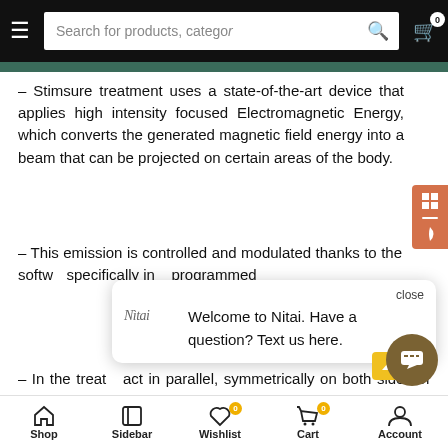Search for products, categories
– Stimsure treatment uses a state-of-the-art device that applies high intensity focused Electromagnetic Energy, which converts the generated magnetic field energy into a beam that can be projected on certain areas of the body.
– This emission is controlled and modulated thanks to the software algorithms that have been specifically integrated and some treatment options programmed
– In the treatment, the two applicators act in parallel, symmetrically on both sides of anatomical axial line.
[Figure (screenshot): Chat popup from Nitai with logo and message: Welcome to Nitai. Have a question? Text us here.]
Shop  Sidebar  Wishlist  Cart  Account